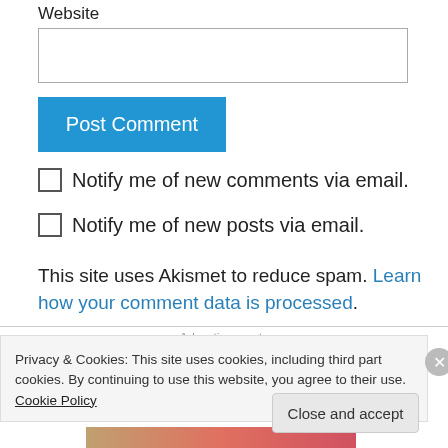Website
Post Comment
Notify me of new comments via email.
Notify me of new posts via email.
This site uses Akismet to reduce spam. Learn how your comment data is processed.
Advertisements
Privacy & Cookies: This site uses cookies, including third part cookies. By continuing to use this website, you agree to their use. Cookie Policy
Close and accept